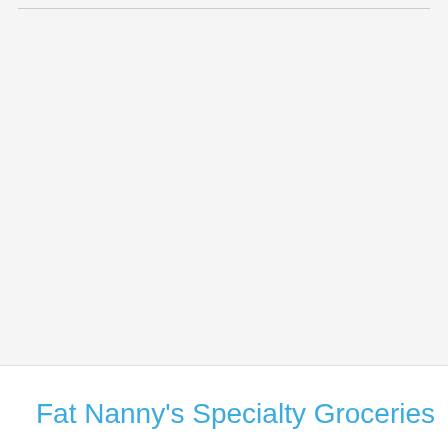Fat Nanny's Specialty Groceries